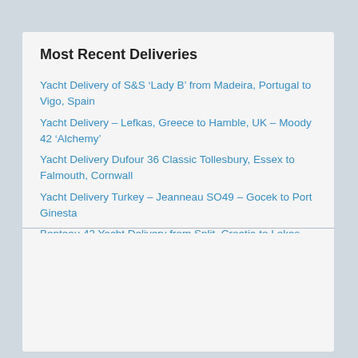Most Recent Deliveries
Yacht Delivery of S&S ‘Lady B’ from Madeira, Portugal to Vigo, Spain
Yacht Delivery – Lefkas, Greece to Hamble, UK – Moody 42 ‘Alchemy’
Yacht Delivery Dufour 36 Classic Tollesbury, Essex to Falmouth, Cornwall
Yacht Delivery Turkey – Jeanneau SO49 – Gocek to Port Ginesta
Benteau 43 Yacht Delivery from Split, Croatia to Lekas, Greece